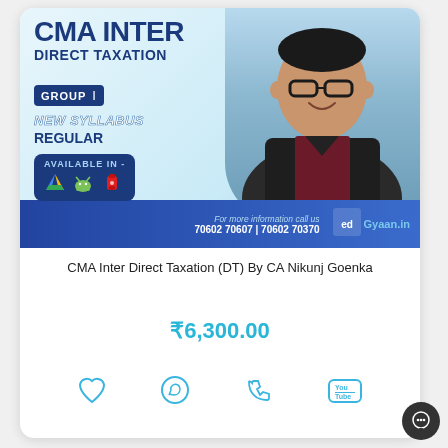[Figure (illustration): Course promotional banner for CMA Inter Direct Taxation by CA Nikunj Goenka. Shows a man in a suit with glasses on a light blue background. Includes GROUP I badge, NEW SYLLABUS, REGULAR labels, Available In section with app icons, and edGyaan branding at the bottom with contact numbers 70602 70607 | 70602 70370.]
CMA Inter Direct Taxation (DT) By CA Nikunj Goenka
₹6,300.00